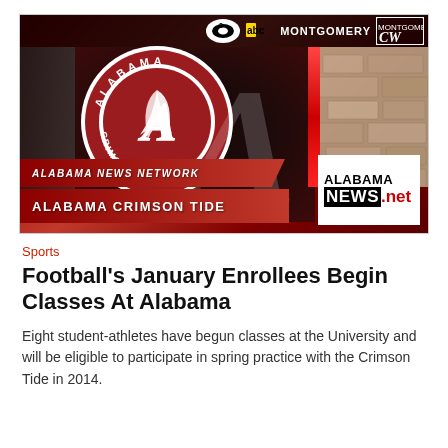[Figure (screenshot): Alabama News Network TV graphic showing Alabama Crimson Tide logo with CBS8, ABC Montgomery, and CW logos at top. Bottom banners read 'ALABAMA NEWS NETWORK' and 'ALABAMA CRIMSON TIDE'. Alabama NEWS.net logo in bottom right corner.]
Sports
Football's January Enrollees Begin Classes At Alabama
Eight student-athletes have begun classes at the University and will be eligible to participate in spring practice with the Crimson Tide in 2014.